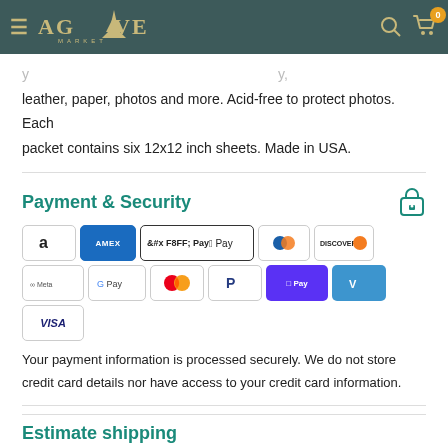Agave Market
leather, paper, photos and more. Acid-free to protect photos. Each packet contains six 12x12 inch sheets. Made in USA.
Payment & Security
[Figure (logo): Payment method icons: Amazon, AMEX, Apple Pay, Diners Club, Discover, Meta Pay, Google Pay, Mastercard, PayPal, Shop Pay, Venmo, VISA]
Your payment information is processed securely. We do not store credit card details nor have access to your credit card information.
Estimate shipping